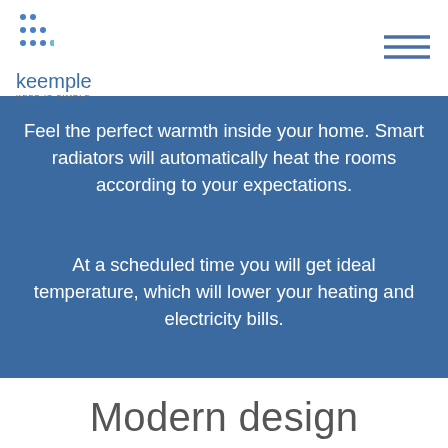[Figure (logo): Keemple logo with dot grid pattern, text 'keemple' in blue and tagline 'KEEP IT SIMPLE.']
[Figure (other): Hamburger menu icon (three horizontal lines) in blue-grey color]
Feel the perfect warmth inside your home. Smart radiators will automatically heat the rooms according to your expectations.
At a scheduled time you will get ideal temperature, which will lower your heating and electricity bills.
Modern design